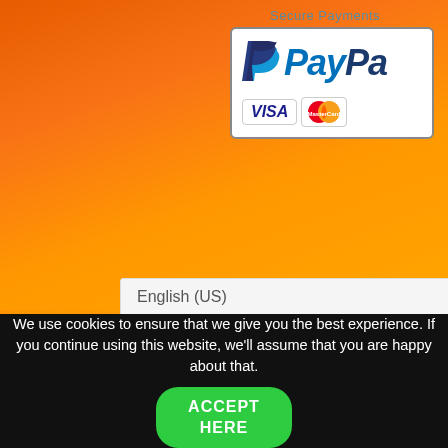[Figure (screenshot): PayPal Secure Payments banner with PayPal logo, VISA and MasterCard badges on orange background, partially cropped on the right side]
English (US)
We use cookies to ensure that we give you the best experience. If you continue using this website, we'll assume that you are happy about that.
ACCEPT HERE